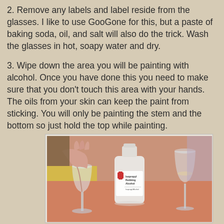2. Remove any labels and label reside from the glasses. I like to use GooGone for this, but a paste of baking soda, oil, and salt will also do the trick. Wash the glasses in hot, soapy water and dry.
3. Wipe down the area you will be painting with alcohol. Once you have done this you need to make sure that you don't touch this area with your hands. The oils from your skin can keep the paint from sticking. You will only be painting the stem and the bottom so just hold the top while painting.
[Figure (photo): A photo showing a hand holding a wine glass stem, a large bottle of Isopropyl Rubbing Alcohol in the center, and another wine glass on the right, all placed on a pink/orange surface.]